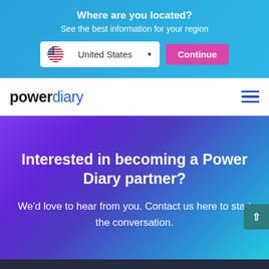Where are you located? See the best information for your region
[Figure (screenshot): Location selector UI with US flag, 'United States' dropdown, and pink 'Continue' button]
[Figure (logo): Power Diary logo with hamburger menu icon]
Interested in becoming a Power Diary partner?
We'd love to hear from you. Contact us here to start the conversation.